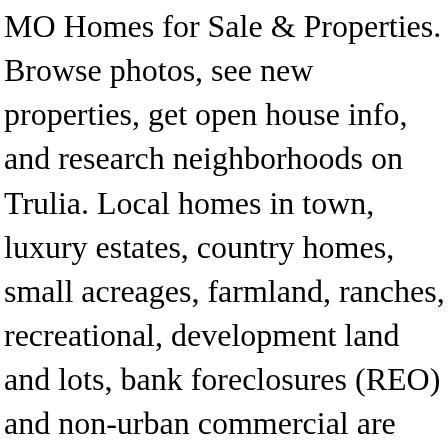MO Homes for Sale & Properties. Browse photos, see new properties, get open house info, and research neighborhoods on Trulia. Local homes in town, luxury estates, country homes, small acreages, farmland, ranches, recreational, development land and lots, bank foreclosures (REO) and non-urban commercial are only a few property types we market to a local, regional, national and worldwide audience through a network that exceeds 3,000 owned and top-ranked real estate and auction websites. 1/26. Read More,